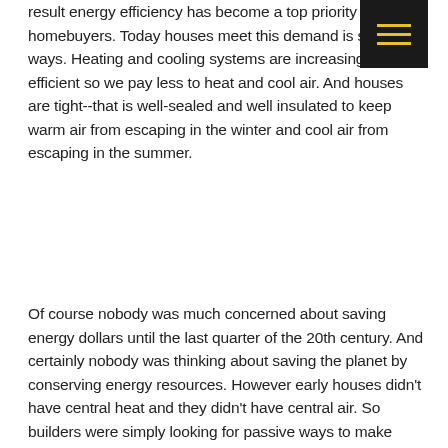result energy efficiency has become a top priority for homebuyers. Today houses meet this demand is several ways. Heating and cooling systems are increasingly efficient so we pay less to heat and cool air. And houses are tight--that is well-sealed and well insulated to keep warm air from escaping in the winter and cool air from escaping in the summer.
Of course nobody was much concerned about saving energy dollars until the last quarter of the 20th century. And certainly nobody was thinking about saving the planet by conserving energy resources. However early houses didn't have central heat and they didn't have central air. So builders were simply looking for passive ways to make homes more comfortable. Fortunately for today's old house dwellers, the strategies used then still enhance the comfort